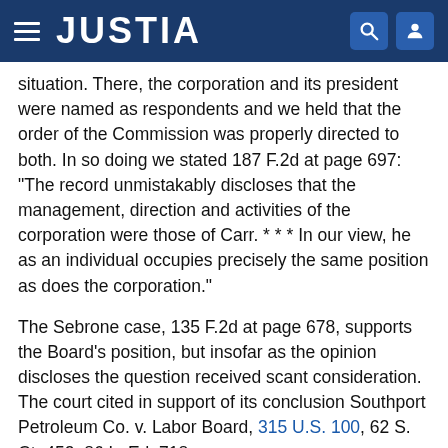JUSTIA
situation. There, the corporation and its president were named as respondents and we held that the order of the Commission was properly directed to both. In so doing we stated 187 F.2d at page 697: "The record unmistakably discloses that the management, direction and activities of the corporation were those of Carr. * * * In our view, he as an individual occupies precisely the same position as does the corporation."
The Sebrone case, 135 F.2d at page 678, supports the Board's position, but insofar as the opinion discloses the question received scant consideration. The court cited in support of its conclusion Southport Petroleum Co. v. Labor Board, 315 U.S. 100, 62 S. Ct. 452, 86 L. Ed. 718.
It is true that similar provisions have been approved in